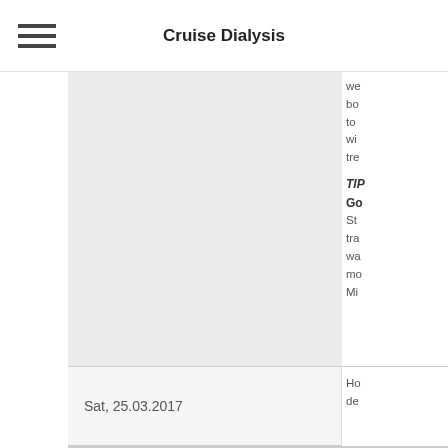Cruise Dialysis
[Figure (other): Gray placeholder image cell in upper left content area]
we bo to wi tre TIP Go St tra wa mo Mi
Sat, 25.03.2017
Ho de